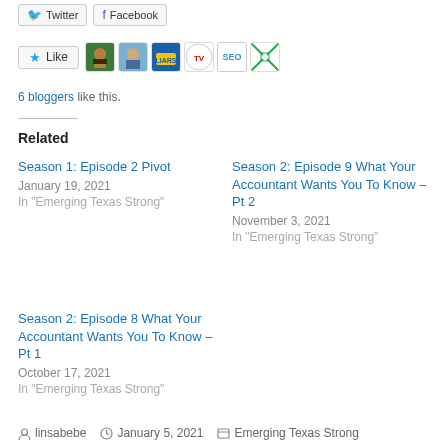[Figure (screenshot): Social share buttons for Twitter and Facebook at top of page]
[Figure (screenshot): Like button with star icon and 6 blogger avatars including profile photos, logos for TV, SEO, and a grid pattern icon]
6 bloggers like this.
Related
Season 1: Episode 2 Pivot
January 19, 2021
In "Emerging Texas Strong"
Season 2: Episode 9 What Your Accountant Wants You To Know – Pt 2
November 3, 2021
In "Emerging Texas Strong"
Season 2: Episode 8 What Your Accountant Wants You To Know – Pt 1
October 17, 2021
In "Emerging Texas Strong"
linsabebe  January 5, 2021  Emerging Texas Strong